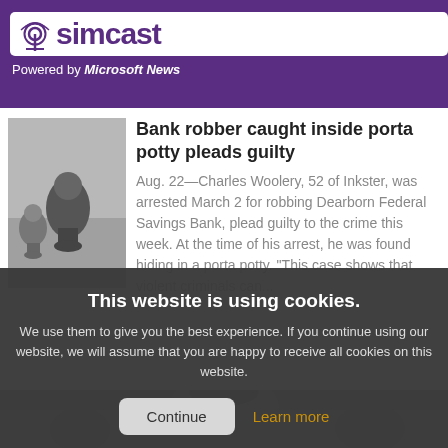simcast — Powered by Microsoft News
[Figure (photo): Chess pawns on a surface]
Bank robber caught inside porta potty pleads guilty
Aug. 22—Charles Woolery, 52 of Inkster, was arrested March 2 for robbing Dearborn Federal Savings Bank, plead guilty to the crime this week. At the time of his arrest, he was found hiding in a porta potty. "This case shows that violent criminals can...
This website is using cookies. We use them to give you the best experience. If you continue using our website, we will assume that you are happy to receive all cookies on this website.
[Figure (photo): Person in crowd wearing blue hat]